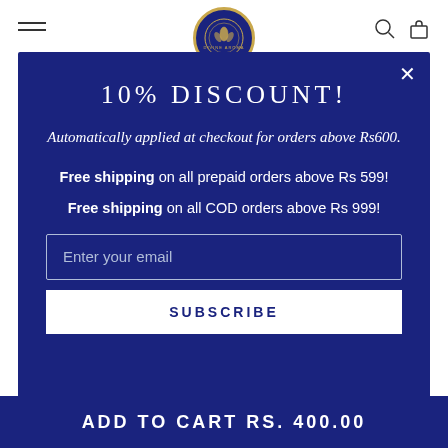[Figure (logo): Divine Aroma circular logo with dark navy background and gold border]
10% DISCOUNT!
Automatically applied at checkout for orders above Rs600.
Free shipping on all prepaid orders above Rs 599!
Free shipping on all COD orders above Rs 999!
Enter your email
SUBSCRIBE
ADD TO CART RS. 400.00